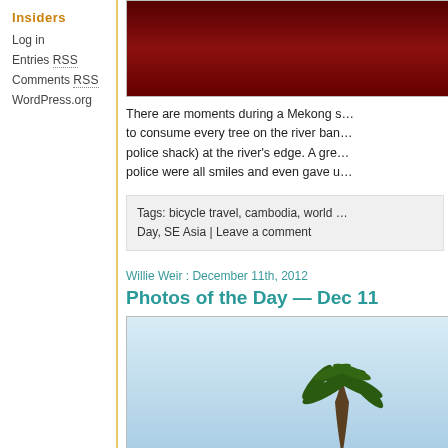Insiders
Log in
Entries RSS
Comments RSS
WordPress.org
[Figure (photo): Dark red photo, top portion of a Mekong sunset or dusk scene]
There are moments during a Mekong s… to consume every tree on the river ban… police shack) at the river's edge. A gre… police were all smiles and even gave u…
Tags: bicycle travel, cambodia, world … Day, SE Asia | Leave a comment
Willie Weir : December 11th, 2012
Photos of the Day — Dec 11
[Figure (photo): Light blue sky with a palm tree silhouette at the bottom center]